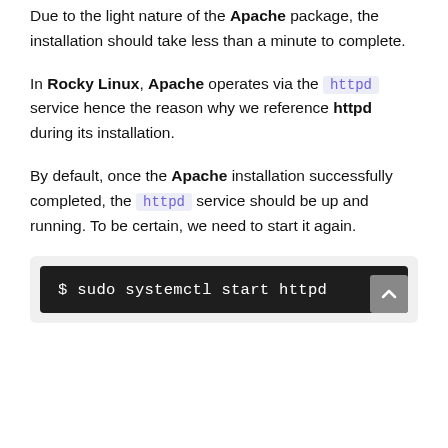Due to the light nature of the Apache package, the installation should take less than a minute to complete.
In Rocky Linux, Apache operates via the httpd service hence the reason why we reference httpd during its installation.
By default, once the Apache installation successfully completed, the httpd service should be up and running. To be certain, we need to start it again.
[Figure (screenshot): Terminal code block showing: $ sudo systemctl start httpd]